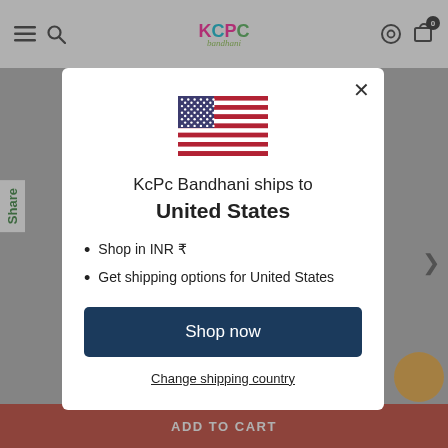[Figure (screenshot): KCPC Bandhani e-commerce website header with navigation icons (hamburger menu, search, logo, settings, cart with 0 badge)]
[Figure (screenshot): Modal dialog showing US flag and shipping information for KcPc Bandhani, with Shop now button and Change shipping country link]
KcPc Bandhani ships to United States
Shop in INR ₹
Get shipping options for United States
Shop now
Change shipping country
ADD TO CART